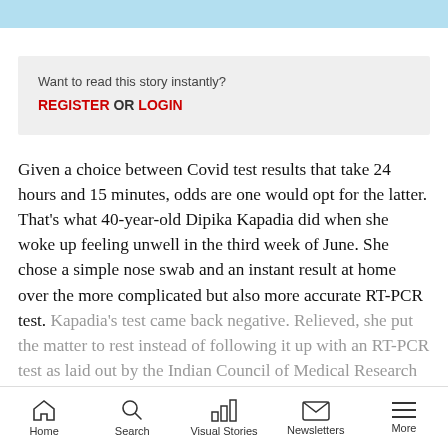Want to read this story instantly?
REGISTER OR LOGIN
Given a choice between Covid test results that take 24 hours and 15 minutes, odds are one would opt for the latter. That's what 40-year-old Dipika Kapadia did when she woke up feeling unwell in the third week of June. She chose a simple nose swab and an instant result at home over the more complicated but also more accurate RT-PCR test. Kapadia's test came back negative. Relieved, she put the matter to rest instead of following it up with an RT-PCR test as laid out by the Indian Council of Medical Research (ICMR) in its
Home | Search | Visual Stories | Newsletters | More